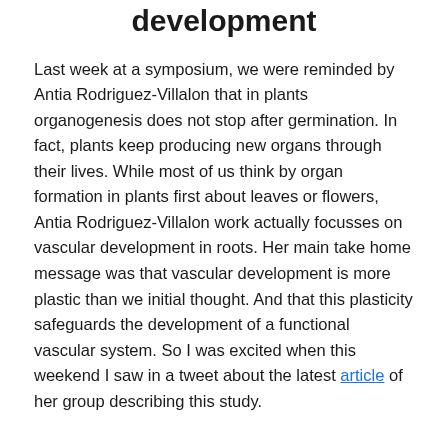development
Last week at a symposium, we were reminded by Antia Rodriguez-Villalon that in plants organogenesis does not stop after germination. In fact, plants keep producing new organs through their lives. While most of us think by organ formation in plants first about leaves or flowers, Antia Rodriguez-Villalon work actually focusses on vascular development in roots. Her main take home message was that vascular development is more plastic than we initial thought. And that this plasticity safeguards the development of a functional vascular system. So I was excited when this weekend I saw in a tweet about the latest article of her group describing this study.